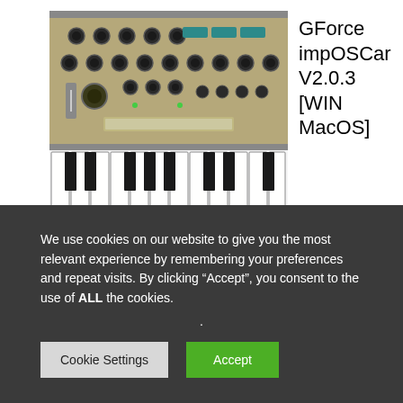[Figure (photo): Photo of a GForce impOSCar synthesizer keyboard/plugin interface showing knobs, sliders, and piano keys]
GForce impOSCar V2.0.3 [WIN MacOS]
If you're not familiar with the impOSCar then you're in for a real treat. However, if you fell in love with it first time
We use cookies on our website to give you the most relevant experience by remembering your preferences and repeat visits. By clicking “Accept”, you consent to the use of ALL the cookies.
.
Cookie Settings
Accept